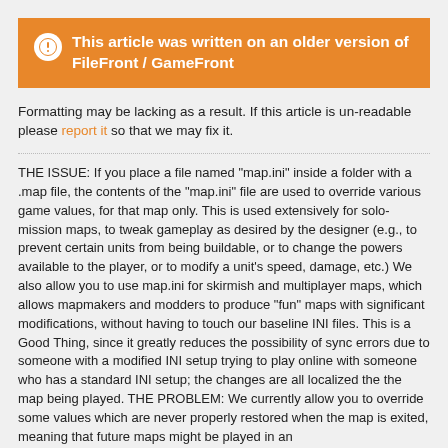This article was written on an older version of FileFront / GameFront
Formatting may be lacking as a result. If this article is un-readable please report it so that we may fix it.
THE ISSUE: If you place a file named 'map.ini' inside a folder with a .map file, the contents of the 'map.ini' file are used to override various game values, for that map only. This is used extensively for solo-mission maps, to tweak gameplay as desired by the designer (e.g., to prevent certain units from being buildable, or to change the powers available to the player, or to modify a unit's speed, damage, etc.) We also allow you to use map.ini for skirmish and multiplayer maps, which allows mapmakers and modders to produce 'fun' maps with significant modifications, without having to touch our baseline INI files. This is a Good Thing, since it greatly reduces the possibility of sync errors due to someone with a modified INI setup trying to play online with someone who has a standard INI setup; the changes are all localized the the map being played. THE PROBLEM: We currently allow you to override some values which are never properly restored when the map is exited, meaning that future maps might be played in an